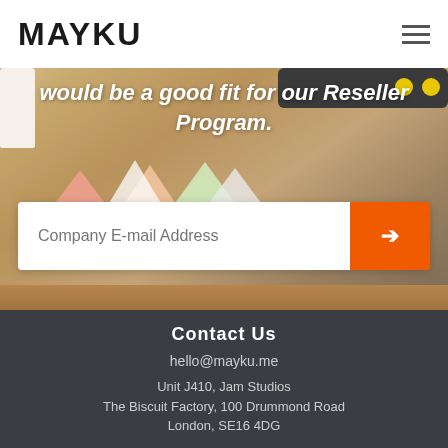[Figure (screenshot): Mayku brand logo in bold black lettering at top left of white header bar]
[Figure (photo): Background hero image showing colorful pastel geometric shapes on a wooden surface with a dark electronic device in the upper right corner with yellow buttons, and a white cup on the left. Text overlay reads 'would be a good fit for our Reseller Program.']
Company E-mail Address
Contact Us
hello@mayku.me
Unit J410, Jam Studios
The Biscuit Factory, 100 Drummond Road
London, SE16 4DG